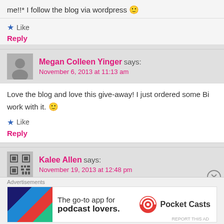me!!* I follow the blog via wordpress 🙂
★ Like
Reply
Megan Colleen Yinger says: November 6, 2013 at 11:13 am
Love the blog and love this give-away! I just ordered some Bi work with it. 🙂
★ Like
Reply
Kalee Allen says: November 19, 2013 at 12:48 pm
Advertisements
[Figure (infographic): Pocket Casts advertisement banner: colorful logo on left, text 'The go-to app for podcast lovers.' with Pocket Casts logo on right]